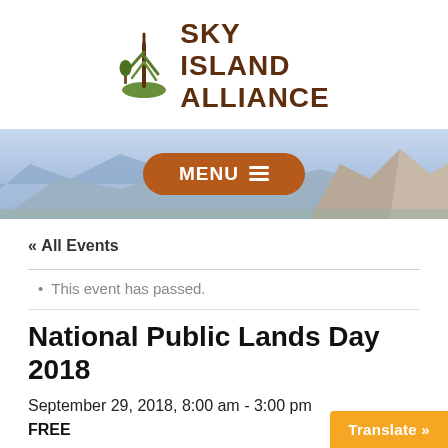[Figure (logo): Sky Island Alliance logo with tree/plant icon and bold brown text reading SKY ISLAND ALLIANCE]
[Figure (photo): Banner photo of mountain landscape with blue sky; orange menu button overlay reading MENU with hamburger icon]
« All Events
This event has passed.
National Public Lands Day 2018
September 29, 2018, 8:00 am - 3:00 pm
FREE
Translate »